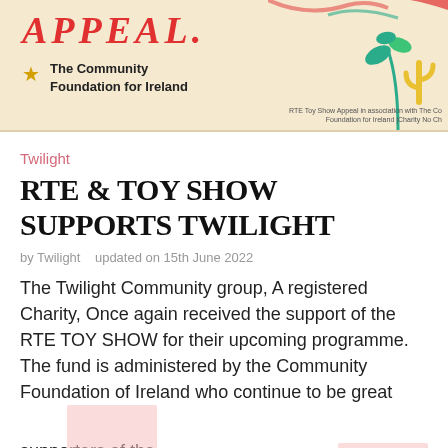[Figure (illustration): RTE Toy Show Appeal banner with red 'APPEAL' text, Community Foundation for Ireland logo with star, and decorative colorful plant/tree illustrations on the right side on a cream/beige background.]
Twilight
RTE & TOY SHOW SUPPORTS TWILIGHT
by Twilight   updated on 15th June 2022
The Twilight Community group, A registered Charity, Once again received the support of the RTE TOY SHOW for their upcoming programme. The fund is administered by the Community Foundation of Ireland who continue to be great supporters of the groups work and activities and it is through